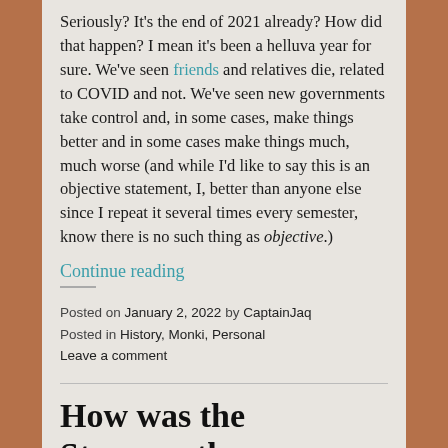Seriously? It's the end of 2021 already? How did that happen? I mean it's been a helluva year for sure. We've seen friends and relatives die, related to COVID and not. We've seen new governments take control and, in some cases, make things better and in some cases make things much, much worse (and while I'd like to say this is an objective statement, I, better than anyone else since I repeat it several times every semester, know there is no such thing as objective.)
Continue reading
Posted on January 2, 2022 by CaptainJaq
Posted in History, Monki, Personal
Leave a comment
How was the Storyworth